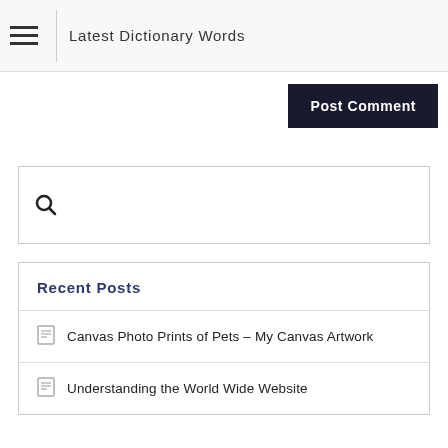Latest Dictionary Words
Post Comment
[Figure (other): Search box with magnifying glass icon]
Recent Posts
Canvas Photo Prints of Pets – My Canvas Artwork
Understanding the World Wide Website